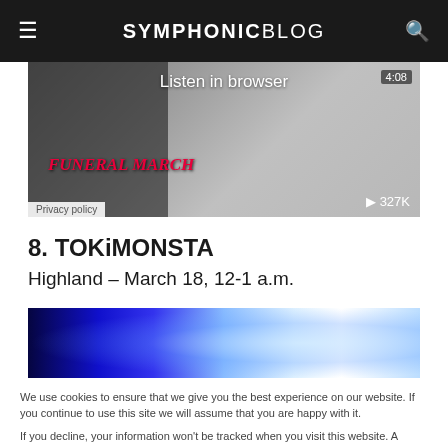SYMPHONIC BLOG
[Figure (screenshot): Audio player widget showing 'Listen in browser' with Funeral March track, duration 4:08, 327K plays, Privacy policy label]
8. TOKiMONSTA
Highland – March 18, 12-1 a.m.
[Figure (photo): Banner image with blue electric light/energy visual effect]
We use cookies to ensure that we give you the best experience on our website. If you continue to use this site we will assume that you are happy with it.

If you decline, your information won't be tracked when you visit this website. A single cookie will be used in your browser to remember your preference not to be tracked.